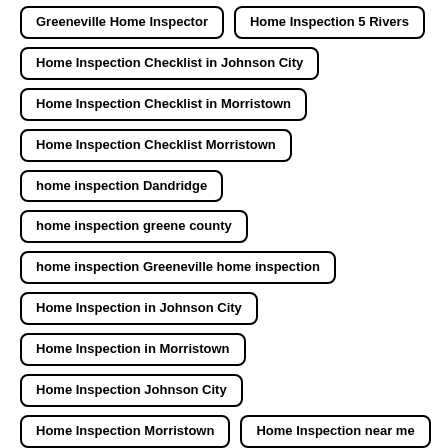Greeneville Home Inspector
Home Inspection 5 Rivers
Home Inspection Checklist in Johnson City
Home Inspection Checklist in Morristown
Home Inspection Checklist Morristown
home inspection Dandridge
home inspection greene county
home inspection Greeneville home inspection
Home Inspection in Johnson City
Home Inspection in Morristown
Home Inspection Johnson City
Home Inspection Morristown
Home Inspection near me